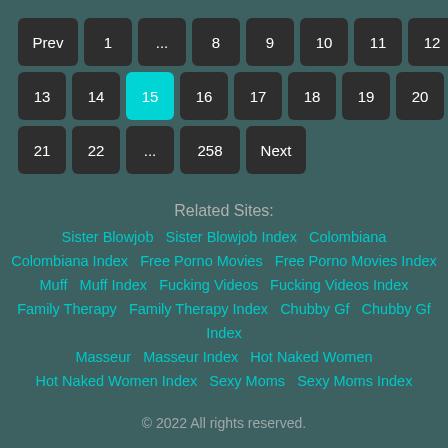Pagination: Prev 1 ... 8 9 10 11 12 13 14 15(active) 16 17 18 19 20 21 22 ... 258 Next
Related Sites:
Sister Blowjob  Sister Blowjob Index  Colombiana  Colombiana Index  Free Porno Movies  Free Porno Movies Index  Muff  Muff Index  Fucking Videos  Fucking Videos Index  Family Therapy  Family Therapy Index  Chubby Gf  Chubby Gf Index  Masseur  Masseur Index  Hot Naked Women  Hot Naked Women Index  Sexy Moms  Sexy Moms Index
© 2022 All rights reserved.
Home  Privacy Policy  DMCA  2257